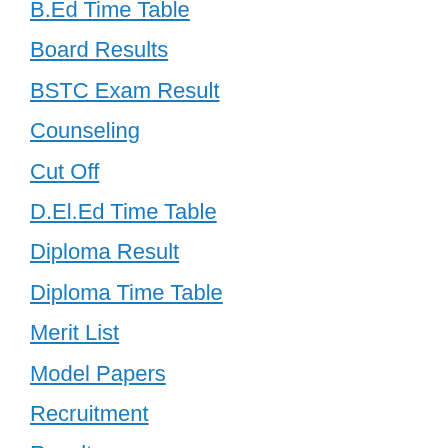B.Ed Time Table
Board Results
BSTC Exam Result
Counseling
Cut Off
D.El.Ed Time Table
Diploma Result
Diploma Time Table
Merit List
Model Papers
Recruitment
Result
SSLC Time Table
Supplementary Result